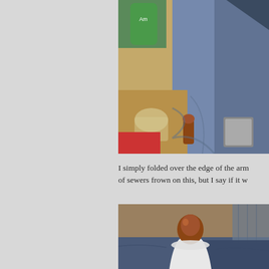[Figure (photo): Close-up photo of a blue/grey lampshade with a wooden finial base, and various items in the background including what appears to be cans and a red book on a wooden surface.]
I simply folded over the edge of the arm of sewers frown on this, but I say if it w
[Figure (photo): Close-up photo of a white lamp finial/harp base on a blue fabric surface against a wooden background.]